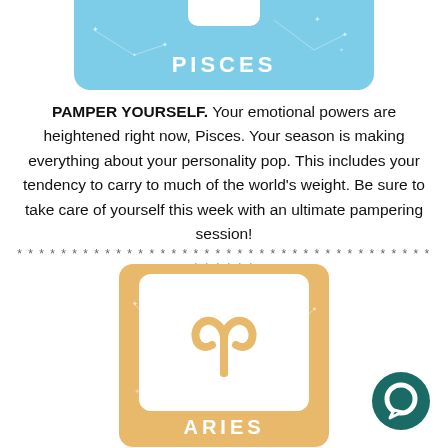[Figure (illustration): Pisces zodiac card — light blue background with rounded bottom corners, white rounded rectangle symbol placeholder at top, bold white text PISCES, star constellation decorations]
PAMPER YOURSELF. Your emotional powers are heightened right now, Pisces. Your season is making everything about your personality pop. This includes your tendency to carry to much of the world's weight. Be sure to take care of yourself this week with an ultimate pampering session!
* * * * * * * * * * * * * * * * * * * * * * * * * * * * * * * * * * * * * * * * * * * *
[Figure (illustration): Aries zodiac card — golden/sandy orange background with rounded corners, white rounded rectangle inner box containing the Aries ram horns symbol in orange, bold white text ARIES at bottom, star decorations on background]
[Figure (illustration): Teal circular chat/message icon in the bottom right corner]